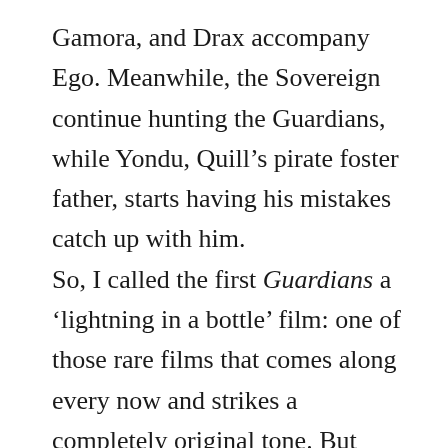Gamora, and Drax accompany Ego. Meanwhile, the Sovereign continue hunting the Guardians, while Yondu, Quill's pirate foster father, starts having his mistakes catch up with him.
So, I called the first Guardians a 'lightning in a bottle' film: one of those rare films that comes along every now and strikes a completely original tone. But what I didn't mention was that